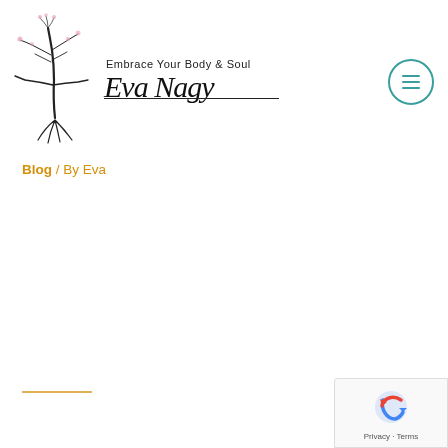[Figure (logo): Eva Nagy logo with a tree illustration, tagline 'Embrace Your Body & Soul', and cursive signature 'Eva Nagy']
[Figure (other): Hamburger menu icon inside a teal circle outline]
Blog / By Eva
[Figure (other): reCAPTCHA badge with Privacy and Terms text]